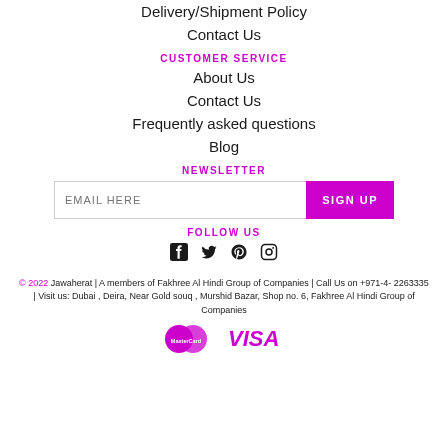Delivery/Shipment Policy
Contact Us
CUSTOMER SERVICE
About Us
Contact Us
Frequently asked questions
Blog
NEWSLETTER
EMAIL HERE | SIGN UP
FOLLOW US
[Figure (infographic): Social media icons: Facebook, Twitter, Pinterest, Instagram]
© 2022 Jawaherat | A members of Fakhree Al Hindi Group of Companies | Call Us on +971-4- 2263335 | Visit us: Dubai , Deira, Near Gold souq , Murshid Bazar, Shop no. 6, Fakhree Al Hindi Group of Companies
[Figure (logo): MasterCard and Visa payment logos]